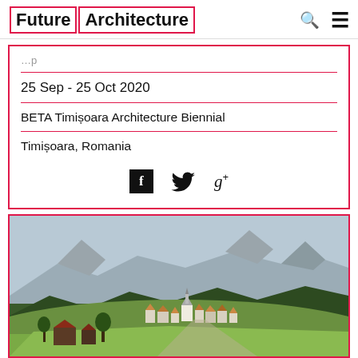Future Architecture
25 Sep - 25 Oct 2020
BETA Timișoara Architecture Biennial
Timișoara, Romania
[Figure (illustration): Social media icons: Facebook, Twitter, Google+]
[Figure (photo): Aerial view of a European Alpine village nestled in a green valley with forested mountain slopes and rocky peaks in the background]